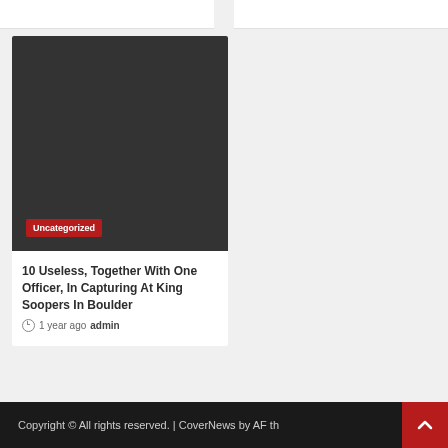[Figure (photo): Dark gray placeholder image with red 'Uncategorized' badge at lower left]
10 Useless, Together With One Officer, In Capturing At King Soopers In Boulder
1 year ago  admin
Copyright © All rights reserved. | CoverNews by AF th